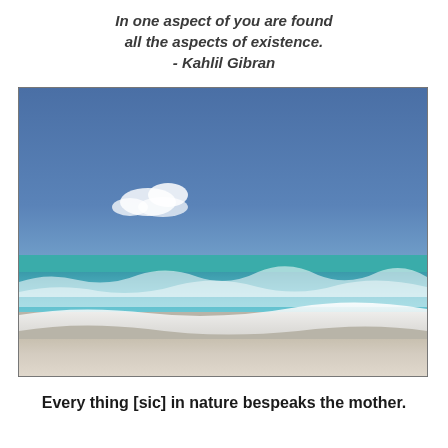In one aspect of you are found all the aspects of existence. - Kahlil Gibran
[Figure (photo): Beach photograph showing a sandy shore with turquoise ocean waves, white foam, and a blue sky with scattered white clouds.]
Every thing [sic] in nature bespeaks the mother.